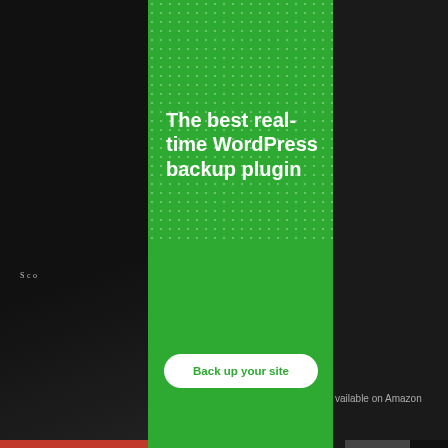[Figure (screenshot): Dark website background with a book cover panel on the left showing partial text 'Sco', a green WordPress backup plugin advertisement banner in the center with white dot pattern, bold white headline 'The best real-time WordPress backup plugin', a white 'Back up your site' button, and partial text 'vailable on Amazon' on the right dark background.]
Luna's assistant
available on Amazon
Privacy & Cookies: This site uses cookies. By continuing to use this website, you agree to their use.
To find out more, including how to control cookies, see here: Cookie Policy
Close and accept